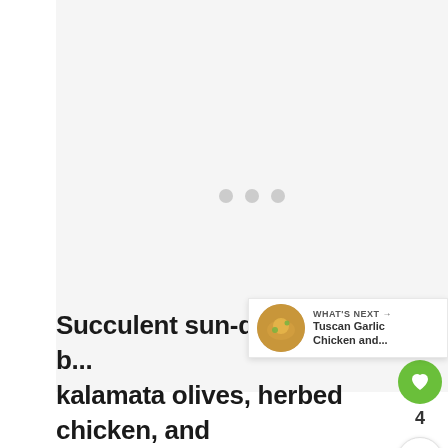[Figure (photo): Loading placeholder — light gray rectangle with three gray dots in the center indicating an image is loading]
[Figure (other): Social sharing UI: green heart/like button showing count 4, and a share button below]
[Figure (other): WHAT'S NEXT panel with a circular food photo thumbnail and text: Tuscan Garlic Chicken and...]
Succulent sun-dried tomatoes, b... kalamata olives, herbed chicken, and